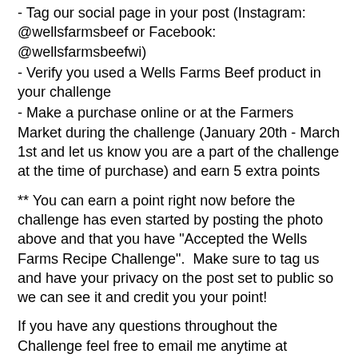- Tag our social page in your post (Instagram: @wellsfarmsbeef or Facebook: @wellsfarmsbeefwi)
- Verify you used a Wells Farms Beef product in your challenge
- Make a purchase online or at the Farmers Market during the challenge (January 20th - March 1st and let us know you are a part of the challenge at the time of purchase) and earn 5 extra points
** You can earn a point right now before the challenge has even started by posting the photo above and that you have "Accepted the Wells Farms Recipe Challenge".  Make sure to tag us and have your privacy on the post set to public so we can see it and credit you your point!
If you have any questions throughout the Challenge feel free to email me anytime at wellsfarmsbeef@gmail.com.